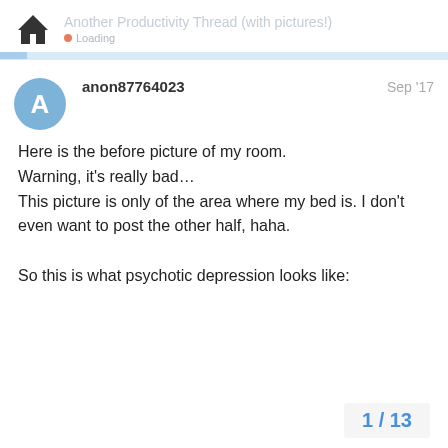Another Productivity Thread (with pictures!)
Here is the before picture of my room.
Warning, it's really bad…
This picture is only of the area where my bed is. I don't even want to post the other half, haha.

So this is what psychotic depression looks like:
1 / 13